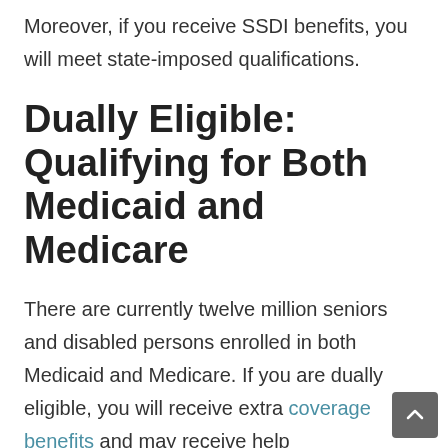Moreover, if you receive SSDI benefits, you will meet state-imposed qualifications.
Dually Eligible: Qualifying for Both Medicaid and Medicare
There are currently twelve million seniors and disabled persons enrolled in both Medicaid and Medicare. If you are dually eligible, you will receive extra coverage benefits and may receive help